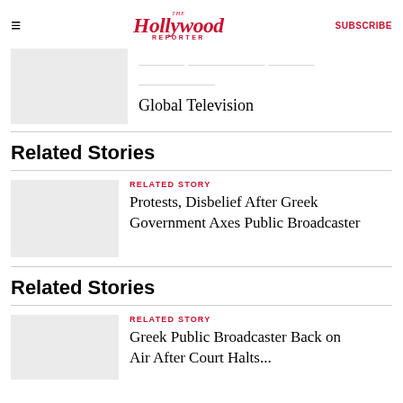The Hollywood Reporter | SUBSCRIBE
Global Television
Related Stories
RELATED STORY
Protests, Disbelief After Greek Government Axes Public Broadcaster
Related Stories
RELATED STORY
Greek Public Broadcaster Back on Air After Court Halts...